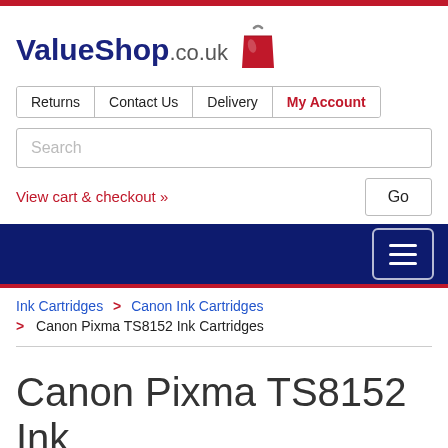[Figure (logo): ValueShop.co.uk logo with red shopping bag icon]
Returns | Contact Us | Delivery | My Account
Search
View cart & checkout »
[Figure (other): Dark navy navigation bar with hamburger menu button]
Ink Cartridges > Canon Ink Cartridges > Canon Pixma TS8152 Ink Cartridges
Canon Pixma TS8152 Ink Cartridges